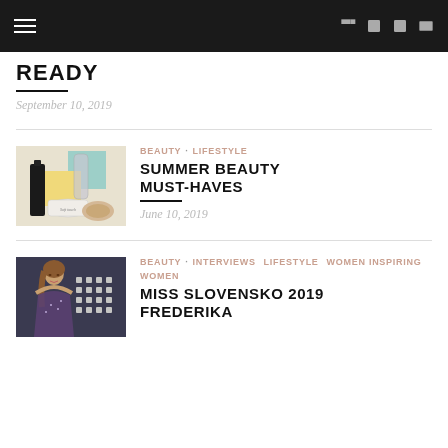Navigation header with hamburger menu and social icons
READY
September 10, 2019
[Figure (photo): Beauty products thumbnail for Summer Beauty Must-Haves article]
BEAUTY  LIFESTYLE
SUMMER BEAUTY MUST-HAVES
June 10, 2019
[Figure (photo): Woman in a sparkly dress, Miss Slovensko 2019 article thumbnail]
BEAUTY  INTERVIEWS  LIFESTYLE  WOMEN INSPIRING WOMEN
MISS SLOVENSKO 2019 FREDERIKA